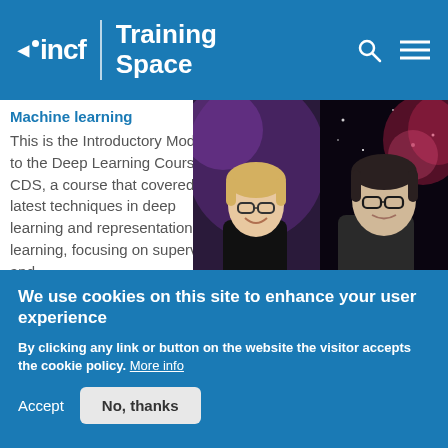incf | Training Space
Machine learning
[Figure (photo): Two people in a split-screen video thumbnail: left person with blonde hair smiling in front of purple-lit background, right person with dark hair and glasses in front of space/galaxy background]
This is the Introductory Module to the Deep Learning Course at CDS, a course that covered the latest techniques in deep learning and representation learning, focusing on supervised and
We use cookies on this site to enhance your user experience
By clicking any link or button on the website the visitor accepts the cookie policy. More info
Accept
No, thanks